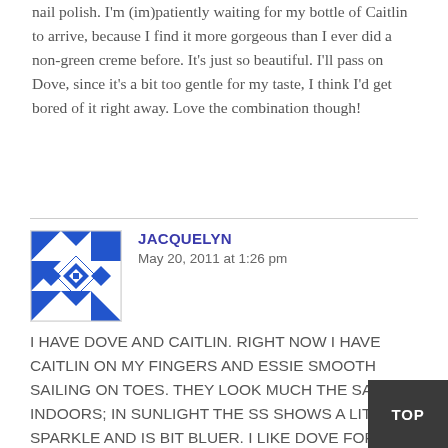nail polish. I'm (im)patiently waiting for my bottle of Caitlin to arrive, because I find it more gorgeous than I ever did a non-green creme before. It's just so beautiful. I'll pass on Dove, since it's a bit too gentle for my taste, I think I'd get bored of it right away. Love the combination though!
JACQUELYN
May 20, 2011 at 1:26 pm
[Figure (illustration): Blue and white geometric/quilt pattern avatar icon]
I HAVE DOVE AND CAITLIN. RIGHT NOW I HAVE CAITLIN ON MY FINGERS AND ESSIE SMOOTH SAILING ON TOES. THEY LOOK MUCH THE SAME INDOORS; IN SUNLIGHT THE SS SHOWS A LITTLE SPARKLE AND IS BIT BLUER. I LIKE DOVE FOR A